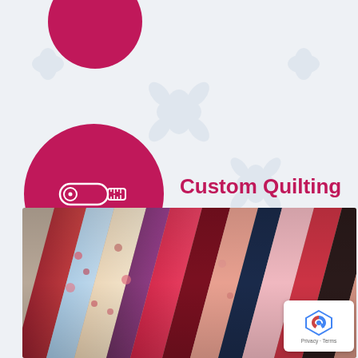[Figure (illustration): Pink magenta circle partially cropped at top of page]
[Figure (illustration): Large pink/magenta circle with white tape measure icon inside]
Custom Quilting
[Figure (photo): Colorful floral fabric rolls/bolts arranged diagonally, showing various patterns in red, pink, blue, cream with floral designs]
[Figure (other): reCAPTCHA badge with Privacy and Terms text]